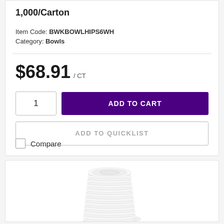1,000/Carton
Item Code: BWKBOWLHIPS6WH
Category: Bowls
$68.91 / CT
1
ADD TO CART
ADD TO QUICKLIST
Compare
[Figure (photo): Stack of white disposable bowls piled on top of each other, one bowl turned upside down at the base]